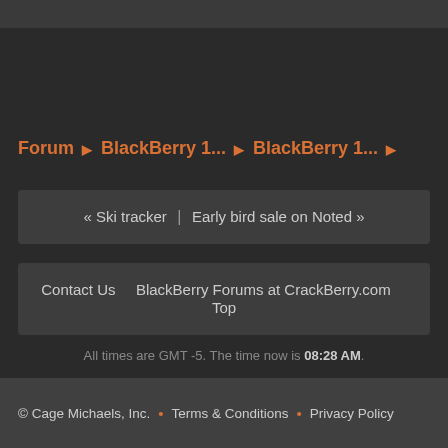Forum ▶ BlackBerry 1... ▶ BlackBerry 1... ▶
« Ski tracker | Early bird sale on Noted »
Contact Us   BlackBerry Forums at CrackBerry.com   Top
All times are GMT -5. The time now is 08:28 AM.
Digital Point modules: Sphinx-based search
© Cage Michaels, Inc.  •  Terms & Conditions  •  Privacy Policy